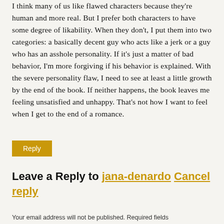I think many of us like flawed characters because they're human and more real. But I prefer both characters to have some degree of likability. When they don't, I put them into two categories: a basically decent guy who acts like a jerk or a guy who has an asshole personality. If it's just a matter of bad behavior, I'm more forgiving if his behavior is explained. With the severe personality flaw, I need to see at least a little growth by the end of the book. If neither happens, the book leaves me feeling unsatisfied and unhappy. That's not how I want to feel when I get to the end of a romance.
Reply
Leave a Reply to jana-denardo Cancel reply
Your email address will not be published. Required fields